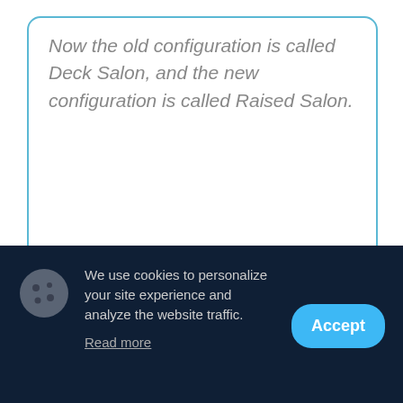Now the old configuration is called Deck Salon, and the new configuration is called Raised Salon.
The cockpit deck level and the saloon floor are almost the same - they are separated by only two low steps. In fact, the cockpit and saloon are combined into a total space of approximately 40 m², separated only by these steps, and by transparent
We use cookies to personalize your site experience and analyze the website traffic.
Read more